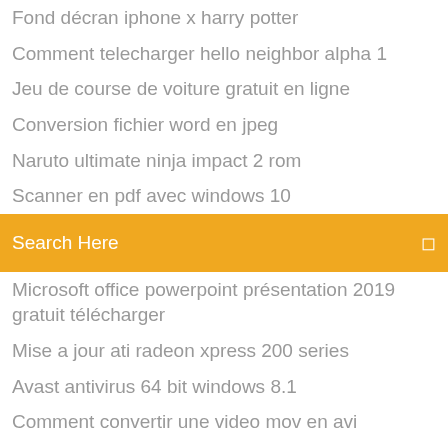Fond décran iphone x harry potter
Comment telecharger hello neighbor alpha 1
Jeu de course de voiture gratuit en ligne
Conversion fichier word en jpeg
Naruto ultimate ninja impact 2 rom
Scanner en pdf avec windows 10
Search Here
Microsoft office powerpoint présentation 2019 gratuit télécharger
Mise a jour ati radeon xpress 200 series
Avast antivirus 64 bit windows 8.1
Comment convertir une video mov en avi
Counter strike go gratuit télécharger complete version
Comment installer skype sur iphone
Générer un qr code carte de visite
Gta san andreas mobile mods
Télécharger windows installer 4.5 windows 7 64 bit
How to use airprint with any printer